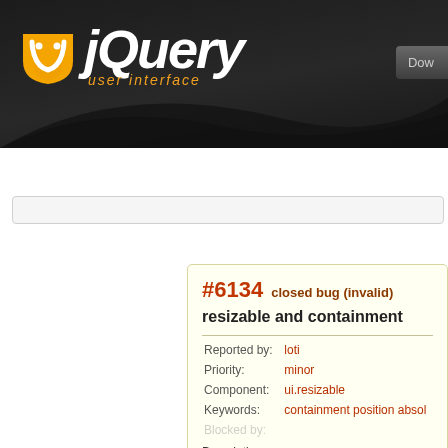[Figure (logo): jQuery UI logo with orange shield icon and white italic 'jQuery' text, with orange italic 'user interface' subtitle, on dark background header]
#6134  closed bug (invalid)
resizable and containment
| Field | Value |
| --- | --- |
| Reported by: | loti |
| Priority: | minor |
| Component: | ui.resizable |
| Keywords: | containment position absol |
| Blocked by: |  |
Description